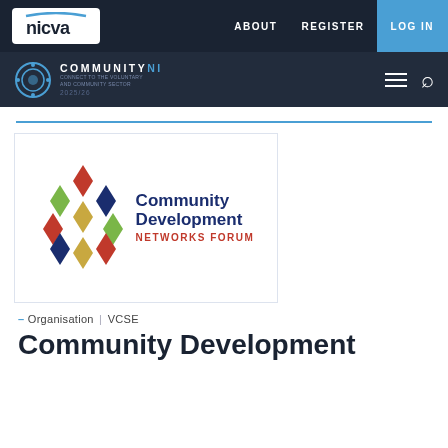NICVA | ABOUT | REGISTER | LOG IN
COMMUNITYNI — 2025/26
[Figure (logo): Community Development Networks Forum logo with diamond/star pattern in red, green, gold, and navy colors, with text 'Community Development NETWORKS FORUM']
– Organisation | VCSE
Community Development